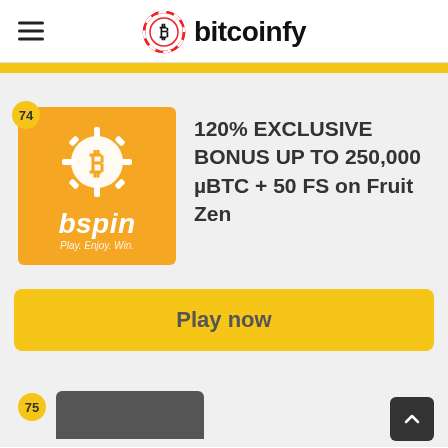bitcoinfy
[Figure (logo): bspin casino logo - orange square with Bitcoin chip icon, bspin text, Play. Enjoy. Win. tagline]
120% EXCLUSIVE BONUS UP TO 250,000 µBTC + 50 FS on Fruit Zen
Play now